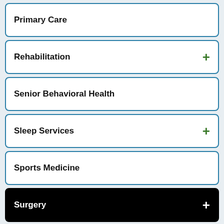Primary Care
Rehabilitation +
Senior Behavioral Health
Sleep Services +
Sports Medicine
Surgery +
Colon Cancer Surgery
Linx Procedure for GERD